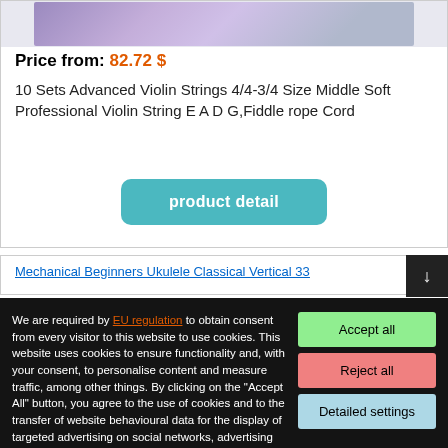[Figure (photo): Product image strip showing violin strings with purple and silver decorations]
Price from: 82.72 $
10 Sets Advanced Violin Strings 4/4-3/4 Size Middle Soft Professional Violin String E A D G,Fiddle rope Cord
product detail
Mechanical Beginners Ukulele Classical Vertical 33
We are required by EU regulation to obtain consent from every visitor to this website to use cookies. This website uses cookies to ensure functionality and, with your consent, to personalise content and measure traffic, among other things. By clicking on the "Accept All" button, you agree to the use of cookies and to the transfer of website behavioural data for the display of targeted advertising on social networks, advertising networks on other sites.
Accept all
Reject all
Detailed settings